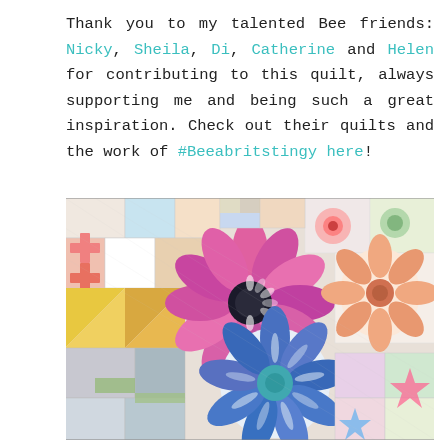Thank you to my talented Bee friends: Nicky, Sheila, Di, Catherine and Helen for contributing to this quilt, always supporting me and being such a great inspiration. Check out their quilts and the work of #Beeabritstingy here!
[Figure (photo): A colorful patchwork quilt featuring floral appliqué blocks with large flower designs in pink, blue, and peach, alongside traditional patchwork blocks with geometric patterns in various fabrics and colors.]